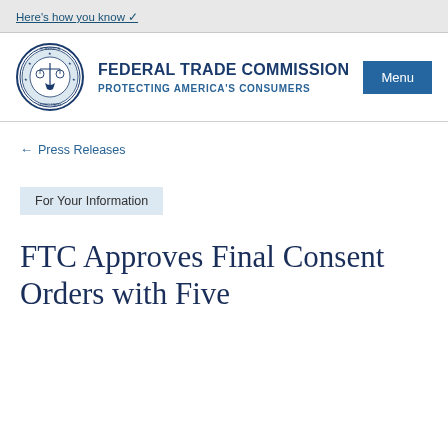Here's how you know
[Figure (logo): Federal Trade Commission official seal — circular blue seal with scales of justice]
FEDERAL TRADE COMMISSION
PROTECTING AMERICA'S CONSUMERS
Menu
← Press Releases
For Your Information
FTC Approves Final Consent Orders with Five